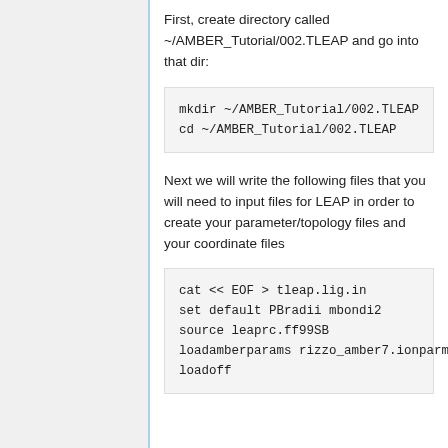First, create directory called ~/AMBER_Tutorial/002.TLEAP and go into that dir:
mkdir ~/AMBER_Tutorial/002.TLEAP
cd ~/AMBER_Tutorial/002.TLEAP
Next we will write the following files that you will need to input files for LEAP in order to create your parameter/topology files and your coordinate files
cat << EOF > tleap.lig.in
set default PBradii mbondi2
source leaprc.ff99SB
loadamberparams rizzo_amber7.ionparms/parm.e16.
loadoff